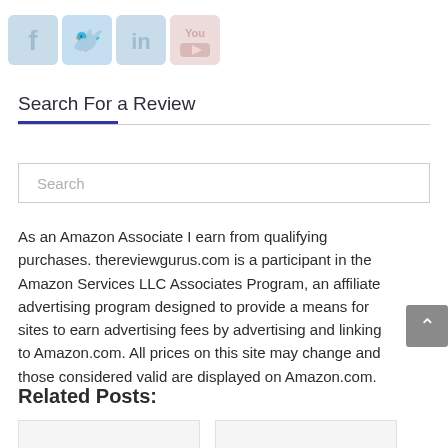[Figure (illustration): Social media icons for Facebook, Twitter, LinkedIn, and YouTube in light blue/red tones]
Search For a Review
Search
As an Amazon Associate I earn from qualifying purchases. thereviewgurus.com is a participant in the Amazon Services LLC Associates Program, an affiliate advertising program designed to provide a means for sites to earn advertising fees by advertising and linking to Amazon.com. All prices on this site may change and those considered valid are displayed on Amazon.com.
Related Posts: